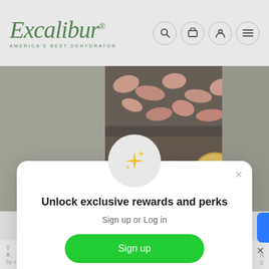[Figure (logo): Excalibur logo with cursive green text and tagline AMERICA'S BEST DEHYDRATOR]
[Figure (photo): Dehydrated food items on dehydrator trays: pink dried chips on top tray, yellow pineapple rings on lower tray, glass jar with dried red berries on the right]
Unlock exclusive rewards and perks
Sign up or Log in
Sign up
Already have an account? Sign in
by clicking here. This message only appears once.